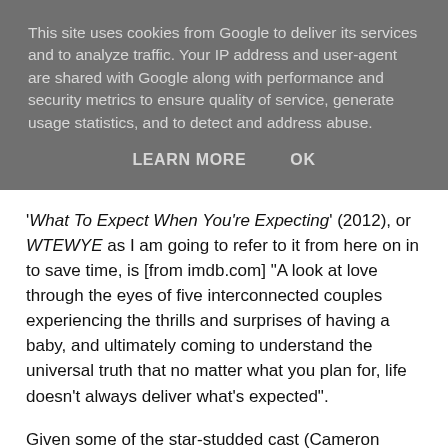This site uses cookies from Google to deliver its services and to analyze traffic. Your IP address and user-agent are shared with Google along with performance and security metrics to ensure quality of service, generate usage statistics, and to detect and address abuse.
LEARN MORE   OK
'What To Expect When You're Expecting' (2012), or WTEWYE as I am going to refer to it from here on in to save time, is [from imdb.com] "A look at love through the eyes of five interconnected couples experiencing the thrills and surprises of having a baby, and ultimately coming to understand the universal truth that no matter what you plan for, life doesn't always deliver what's expected".
Given some of the star-studded cast (Cameron Diaz, Chris Rock, Elizabeth Banks, Thomas Lennon) I was anticipating some good humour in this movie, and I wasn't disappointed. It isn't 'laugh-a-minute', and I think some may be expecting that and leave the movie disappointed, but it IS very funny in